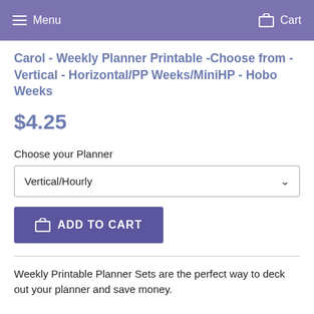Menu  Cart
Carol - Weekly Planner Printable -Choose from - Vertical - Horizontal/PP Weeks/MiniHP - Hobo Weeks
$4.25
Choose your Planner
Vertical/Hourly
ADD TO CART
Weekly Printable Planner Sets are the perfect way to deck out your planner and save money.